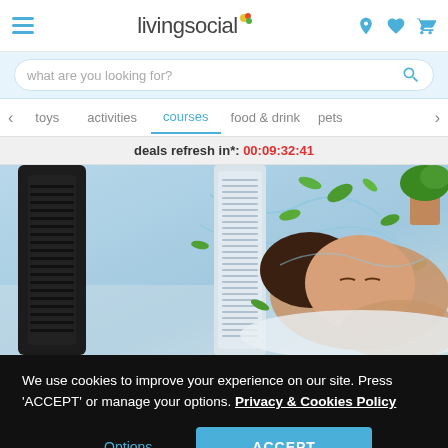livingsocial - navigation header with hamburger menu, logo, and icons
what are you looking for?
toys
activities
courses
food & drink
pets
deals refresh in*: 00:09:32:41
[Figure (photo): Woman sleeping comfortably on a bed with a tower fan blowing air, green leaves floating in the breeze to illustrate air circulation]
We use cookies to improve your experience on our site. Press 'ACCEPT' or manage your options. Privacy & Cookies Policy
Options
ACCEPT